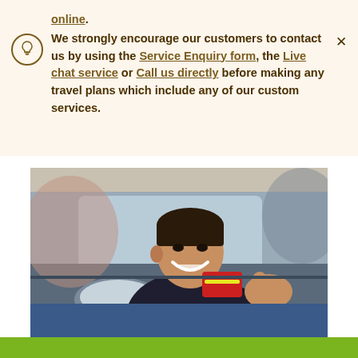online. We strongly encourage our customers to contact us by using the Service Enquiry form, the Live chat service or Call us directly before making any travel plans which include any of our custom services.
[Figure (photo): A smiling man leaning out of a car window, giving a thumbs up and holding a red credit card.]